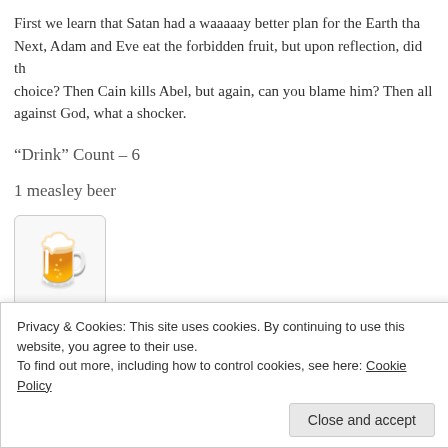First we learn that Satan had a waaaaay better plan for the Earth than Next, Adam and Eve eat the forbidden fruit, but upon reflection, did th choice? Then Cain kills Abel, but again, can you blame him? Then all against God, what a shocker.
“Drink” Count – 6
1 measley beer
[Figure (illustration): Beer mug emoji in a light bordered box]
I’ll see everyone in Salt Lake City on June 25!
[Figure (screenshot): Button labeled YEA, A LIVE EVENT! in dark blue with white bold text]
Privacy & Cookies: This site uses cookies. By continuing to use this website, you agree to their use.
To find out more, including how to control cookies, see here: Cookie Policy
Close and accept